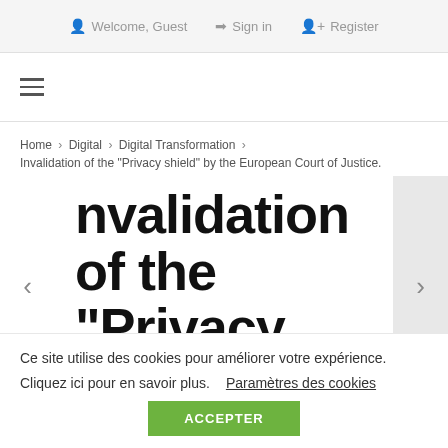Welcome, Guest   Sign in   Register
Home > Digital > Digital Transformation > Invalidation of the “Privacy shield” by the European Court of Justice.
Invalidation of the “Privacy shield” by the European Court of Justice.
Ce site utilise des cookies pour améliorer votre expérience. Cliquez ici pour en savoir plus.   Paramètres des cookies
ACCEPTER